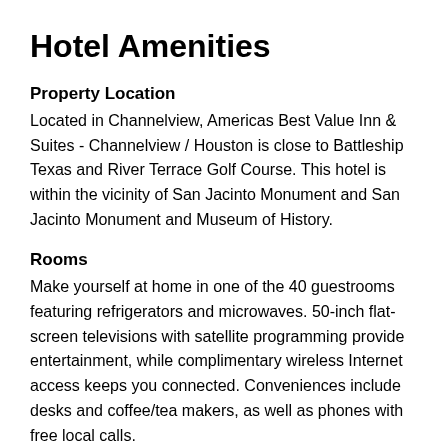Hotel Amenities
Property Location
Located in Channelview, Americas Best Value Inn & Suites - Channelview / Houston is close to Battleship Texas and River Terrace Golf Course. This hotel is within the vicinity of San Jacinto Monument and San Jacinto Monument and Museum of History.
Rooms
Make yourself at home in one of the 40 guestrooms featuring refrigerators and microwaves. 50-inch flat-screen televisions with satellite programming provide entertainment, while complimentary wireless Internet access keeps you connected. Conveniences include desks and coffee/tea makers, as well as phones with free local calls.
Dining